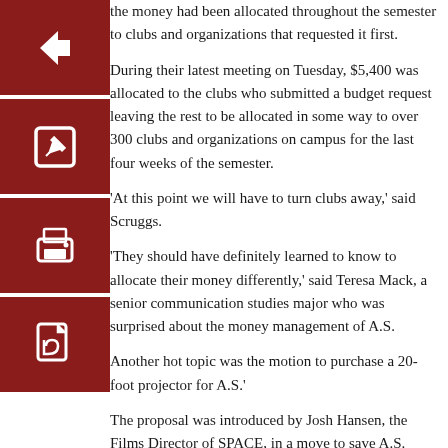the money had been allocated throughout the semester to clubs and organizations that requested it first.
During their latest meeting on Tuesday, $5,400 was allocated to the clubs who submitted a budget request leaving the rest to be allocated in some way to over 300 clubs and organizations on campus for the last four weeks of the semester.
'At this point we will have to turn clubs away,' said Scruggs.
'They should have definitely learned to know to allocate their money differently,' said Teresa Mack, a senior communication studies major who was surprised about the money management of A.S.
Another hot topic was the motion to purchase a 20-foot projector for A.S.'
The proposal was introduced by Josh Hansen, the Films Director of SPACE, in a move to save A.S. future spending in the rental of projectors for movie showings. The proposal also stated that many clubs could benefit from this free projector and would not have to pay outside fees to rent any.
Currently A.S. spends nearly $7,200 on renting a projector and a screen for two semesters.'